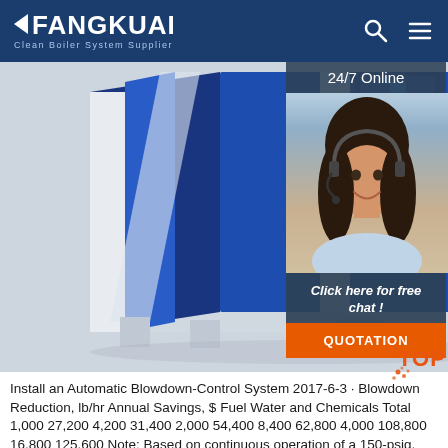FANGKUAI — Clean Boiler System Supplier
[Figure (photo): Blue and white industrial boiler unit photographed from the front-left angle, showing angular casing panels and cylindrical components, displayed against a light grey background.]
[Figure (photo): 24/7 Online customer service agent — woman wearing headset, smiling, with 'Click here for free chat!' and 'QUOTATION' button overlay on the right side.]
Install an Automatic Blowdown-Control System 2017-6-3 · Blowdown Reduction, lb/hr Annual Savings, $ Fuel Water and Chemicals Total 1,000 27,200 4,200 31,400 2,000 54,400 8,400 62,800 4,000 108,800 16,800 125,600 Note: Based on continuous operation of a 150-psig, natural gas-fired steam boiler with fuel valued at $8.00 per million Btu ($8.00/MMBtu), a makeup water temperature of 60°F, and a boiler ...